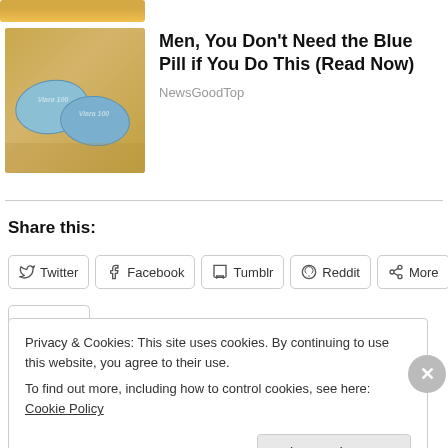[Figure (photo): Partial view of a yellow/golden toy or object, cropped at top of page]
[Figure (photo): Photo of two blue oval pill tablets on a wooden surface]
Men, You Don't Need the Blue Pill if You Do This (Read Now)
NewsGoodTop
Share this:
Twitter  Facebook  Tumblr  Reddit  More
Privacy & Cookies: This site uses cookies. By continuing to use this website, you agree to their use.
To find out more, including how to control cookies, see here: Cookie Policy
Close and accept